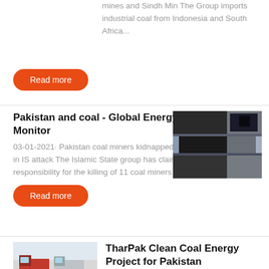mines and Sindh Min The Group imports industrial coal from Indonesia and South Africa...
Read more
Pakistan and coal - Global Energy Monitor
03-01-2021· Pakistan coal miners kidnapped and killed in IS attack The Islamic State group has claimed responsibility for the killing of 11 coal miners in the ,...
[Figure (photo): Close-up photo of dark industrial coal or metal surfaces]
Read more
[Figure (photo): Photo of large trucks parked outdoors]
TharPak Clean Coal Energy Project for Pakistan
Pakistan sits on one of the world's largest coal deposits TharPak is a Group of leading multinational companies and educational...